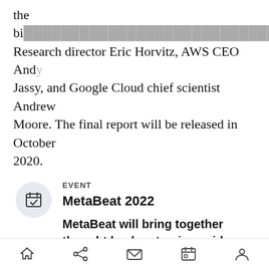the bi...osoft Research director Eric Horvitz, AWS CEO Andy Jassy, and Google Cloud chief scientist Andrew Moore. The final report will be released in October 2020.
EVENT
MetaBeat 2022
MetaBeat will bring together thought leaders to give guidance on how metaverse technology will transform the way all industries communicate and do business on October 4 in San Francisco,
Home | Share | Mail | Calendar | Profile